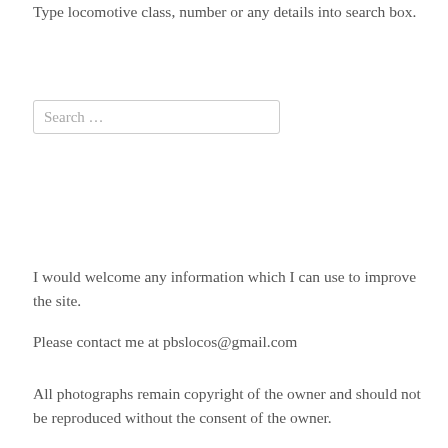Type locomotive class, number or any details into search box.
[Figure (other): Search input box with placeholder text 'Search …']
I would welcome any information which I can use to improve the site.
Please contact me at pbslocos@gmail.com
All photographs remain copyright of the owner and should not be reproduced without the consent of the owner.